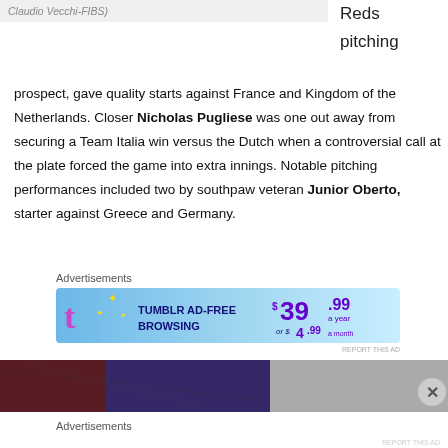Claudio Vecchi-FIBS)
Reds pitching prospect, gave quality starts against France and Kingdom of the Netherlands. Closer Nicholas Pugliese was one out away from securing a Team Italia win versus the Dutch when a controversial call at the plate forced the game into extra innings. Notable pitching performances included two by southpaw veteran Junior Oberto, starter against Greece and Germany.
Advertisements
[Figure (screenshot): Tumblr Ad-Free Browsing advertisement banner showing $39.99 a year or $4.99 a month pricing]
REPORT THIS AD
[Figure (photo): Partial image at bottom of page showing crowd and equipment]
Advertisements